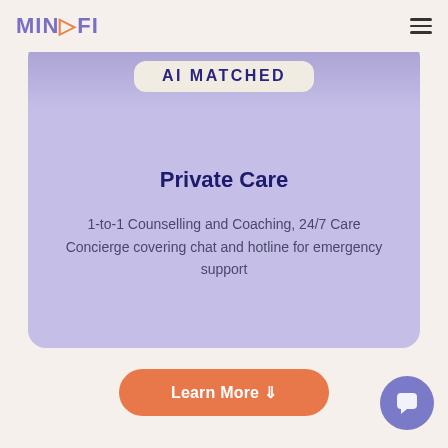MINDFI
[Figure (screenshot): Mindfi app card showing 'AI MATCHED' pill banner at top on purple background]
Private Care
1-to-1 Counselling and Coaching, 24/7 Care Concierge covering chat and hotline for emergency support
[Figure (other): Learn More button with downward arrow, orange rounded pill shape]
[Figure (other): Purple circular chat bubble icon button in bottom right corner]